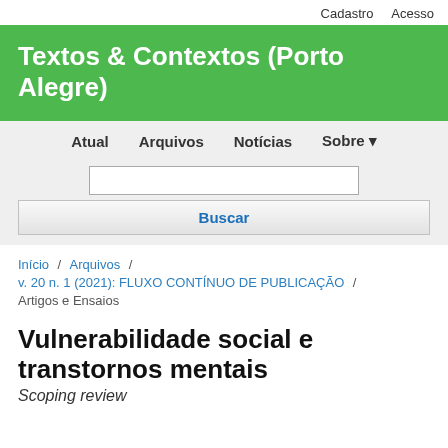Cadastro   Acesso
Textos & Contextos (Porto Alegre)
Atual   Arquivos   Notícias   Sobre
Buscar
Início / Arquivos / v. 20 n. 1 (2021): FLUXO CONTÍNUO DE PUBLICAÇÃO / Artigos e Ensaios
Vulnerabilidade social e transtornos mentais
Scoping review